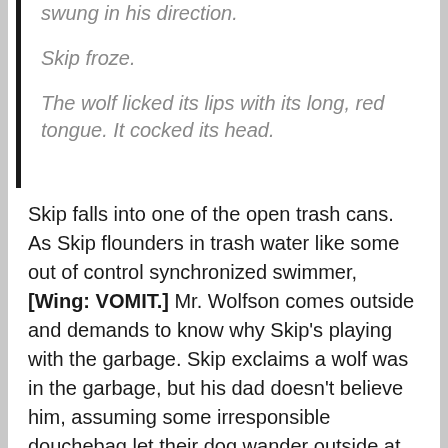swung in his direction.
Skip froze.
The wolf licked its lips with its long, red tongue. It cocked its head.
Skip falls into one of the open trash cans. As Skip flounders in trash water like some out of control synchronized swimmer, [Wing: VOMIT.] Mr. Wolfson comes outside and demands to know why Skip's playing with the garbage. Skip exclaims a wolf was in the garbage, but his dad doesn't believe him, assuming some irresponsible douchebag let their dog wander outside at night, but Skip knows it was the Wolf of Grove Hill.